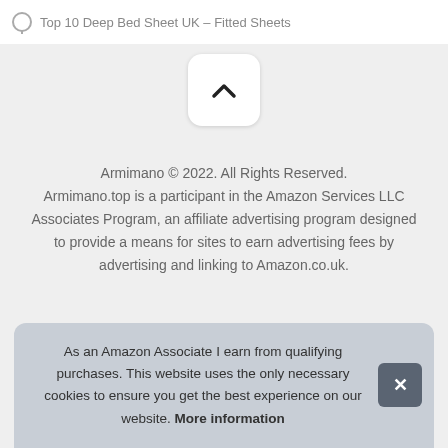Top 10 Deep Bed Sheet UK – Fitted Sheets
[Figure (other): Scroll-to-top button with upward chevron arrow on white rounded square background]
Armimano © 2022. All Rights Reserved. Armimano.top is a participant in the Amazon Services LLC Associates Program, an affiliate advertising program designed to provide a means for sites to earn advertising fees by advertising and linking to Amazon.co.uk.
As an Amazon Associate I earn from qualifying purchases. This website uses the only necessary cookies to ensure you get the best experience on our website. More information